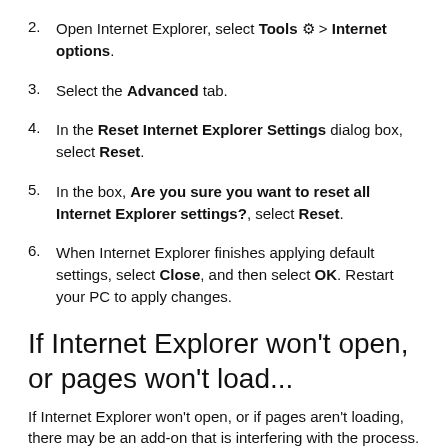2. Open Internet Explorer, select Tools ⚙ > Internet options.
3. Select the Advanced tab.
4. In the Reset Internet Explorer Settings dialog box, select Reset.
5. In the box, Are you sure you want to reset all Internet Explorer settings?, select Reset.
6. When Internet Explorer finishes applying default settings, select Close, and then select OK. Restart your PC to apply changes.
If Internet Explorer won't open, or pages won't load...
If Internet Explorer won't open, or if pages aren't loading, there may be an add-on that is interfering with the process. To tell